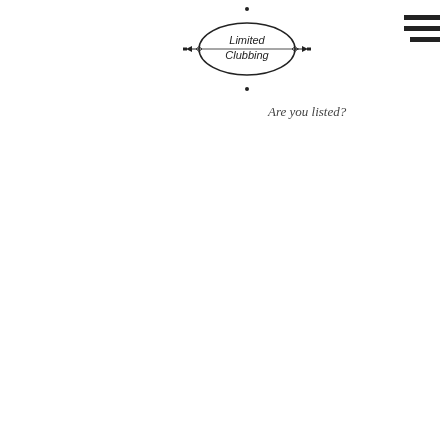[Figure (logo): Limited Clubbing oval logo with decorative elements — an oval/ellipse shape with horizontal lines through the center, small diamond/arrow decorations on left and right sides, small dots at top and bottom, and text 'Limited Clubbing' inside]
Are you listed?